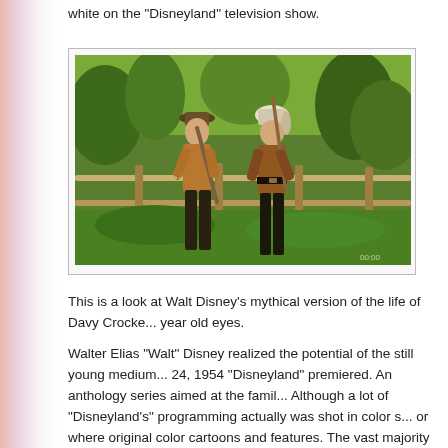white on the "Disneyland" television show.
[Figure (photo): Two men dressed in frontier/buckskin costumes holding rifles, standing outdoors with greenery and a wooden fence in the background. Appears to be a still from a Davy Crockett television production.]
This is a look at Walt Disney's mythical version of the life of Davy Crocke... year old eyes.
Walter Elias "Walt" Disney realized the potential of the still young medium... 24, 1954 "Disneyland" premiered. An anthology series aimed at the famil... Although a lot of "Disneyland's" programming actually was shot in color s... or where original color cartoons and features. The vast majority of televis... ..."Disneyland" and...